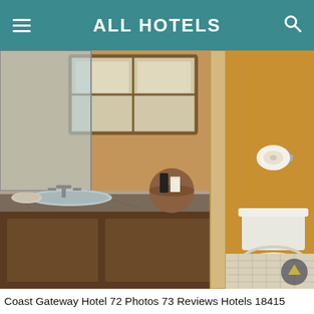ALL HOTELS
[Figure (photo): Hotel bathroom showing a granite countertop sink area on the left with a window above, and a separate toilet room on the right with yellow walls and a toilet paper holder, viewed from outside the bathroom door.]
Coast Gateway Hotel 72 Photos 73 Reviews Hotels 18415